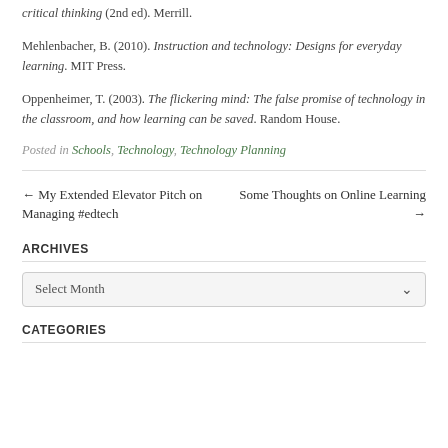critical thinking (2nd ed). Merrill.
Mehlenbacher, B. (2010). Instruction and technology: Designs for everyday learning. MIT Press.
Oppenheimer, T. (2003). The flickering mind: The false promise of technology in the classroom, and how learning can be saved. Random House.
Posted in Schools, Technology, Technology Planning
← My Extended Elevator Pitch on Managing #edtech
Some Thoughts on Online Learning →
ARCHIVES
Select Month
CATEGORIES